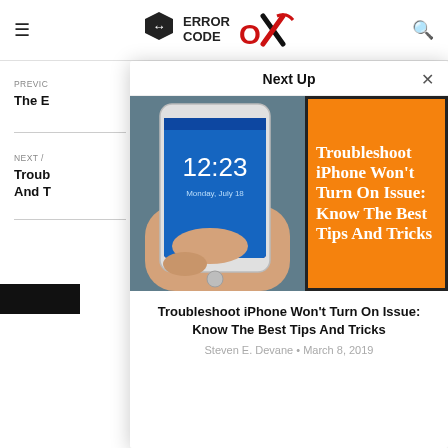Error Code OX
PREVIOUS
The E...
NEXT ARTICLE
Troub... And T...
Next Up
[Figure (photo): Hand holding a smartphone showing time 12:23 on lock screen, next to an orange panel with white text reading: Troubleshoot iPhone Won't Turn On Issue: Know The Best Tips And Tricks]
Troubleshoot iPhone Won't Turn On Issue: Know The Best Tips And Tricks
Steven E. Devane • March 8, 2019